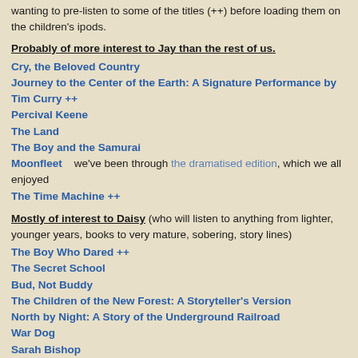wanting to pre-listen to some of the titles (++) before loading them on the children's ipods.
Probably of more interest to Jay than the rest of us.
Cry, the Beloved Country
Journey to the Center of the Earth: A Signature Performance by Tim Curry ++
Percival Keene
The Land
The Boy and the Samurai
Moonfleet    we've been through the dramatised edition, which we all enjoyed
The Time Machine ++
Mostly of interest to Daisy (who will listen to anything from lighter, younger years, books to very mature, sobering, story lines)
The Boy Who Dared ++
The Secret School
Bud, Not Buddy
The Children of the New Forest: A Storyteller's Version
North by Night: A Story of the Underground Railroad
War Dog
Sarah Bishop